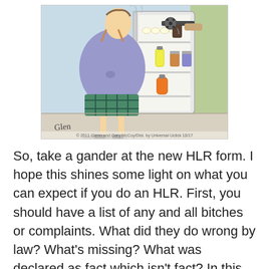[Figure (illustration): A cartoon showing a large, overweight person in plaid shorts looking into an open refrigerator. Inside the refrigerator, a gun (revolver) is pointing out at the person. The fridge contains eggs, condiment bottles, canned goods, and other items. The person is wearing suspenders and has bird-like thin legs. Below the image is a signature 'Glen' and copyright text '© 2011 Glenn and Gary McCoy/Dist. by Universal Uclick 10/17'.]
So, take a gander at the new HLR form. I hope this shines some light on what you can expect if you do an HLR. First, you should have a list of any and all bitches or complaints. What did they do wrong by law? What's missing? What was declared as fact which isn't fact? In this one, Wendy